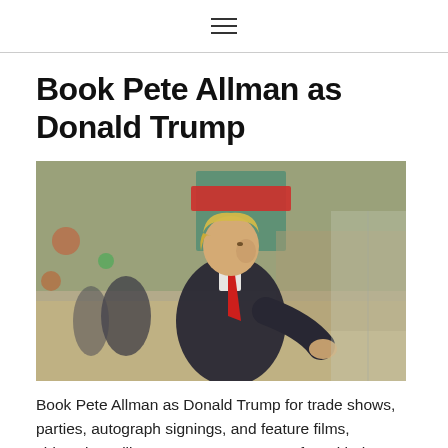≡
Book Pete Allman as Donald Trump
[Figure (photo): A Donald Trump impersonator (Pete Allman) in a dark suit with red tie, blonde hair, walking on a busy street with blurred crowd and city lights in background]
Book Pete Allman as Donald Trump for trade shows, parties, autograph signings, and feature films, videos.by calling 702-265-9099. Have fun with the trumpster, also singing, dancing, and